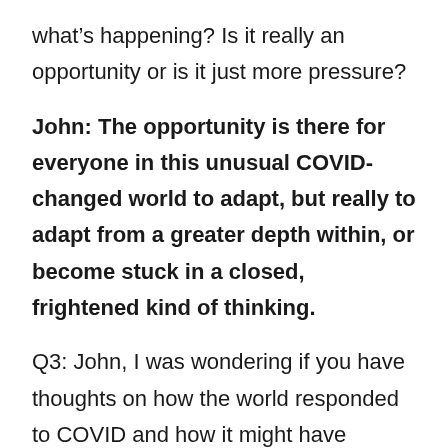what's happening? Is it really an opportunity or is it just more pressure?
John: The opportunity is there for everyone in this unusual COVID-changed world to adapt, but really to adapt from a greater depth within, or become stuck in a closed, frightened kind of thinking.
Q3: John, I was wondering if you have thoughts on how the world responded to COVID and how it might have responded to COVID?
John: Various mixes of adapting by way of